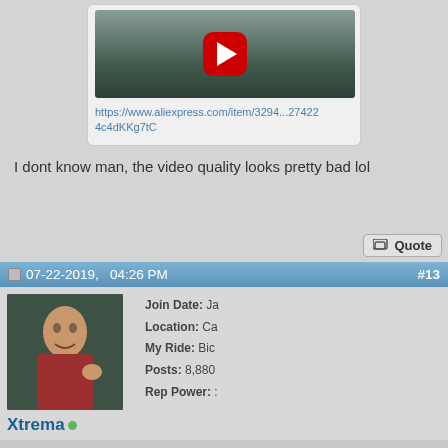[Figure (screenshot): YouTube video embed thumbnail showing a car dashboard view with a red YouTube play button overlay]
https://www.aliexpress.com/item/3294...274224c4dKKg7tC
I dont know man, the video quality looks pretty bad lol
Quote
07-22-2019,  04:26 PM   #13
[Figure (photo): Forum user avatar photo of a person making an expression]
Xtrema
Join Date: Ja
Location: Ca
My Ride: Bic
Posts: 8,880
Rep Power: :